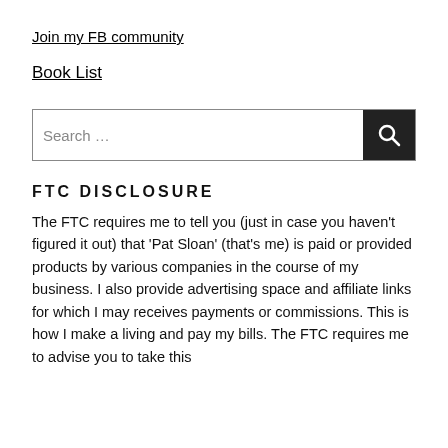Join my FB community
Book List
Search …
FTC DISCLOSURE
The FTC requires me to tell you (just in case you haven't figured it out) that 'Pat Sloan' (that's me) is paid or provided products by various companies in the course of my business. I also provide advertising space and affiliate links for which I may receives payments or commissions. This is how I make a living and pay my bills. The FTC requires me to advise you to take this